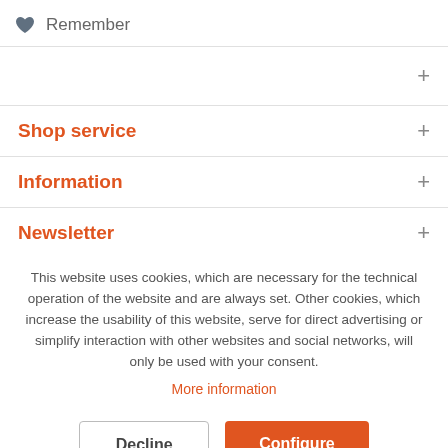Remember
Shop service
Information
Newsletter
This website uses cookies, which are necessary for the technical operation of the website and are always set. Other cookies, which increase the usability of this website, serve for direct advertising or simplify interaction with other websites and social networks, will only be used with your consent.
More information
Decline
Configure